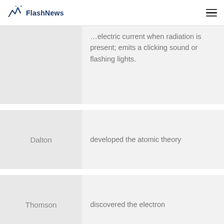FlashNews
| Name | Description |
| --- | --- |
|  | electric current when radiation is present; emits a clicking sound or flashing lights. |
| Dalton | developed the atomic theory |
| Thomson | discovered the electron |
| Rutherford | British physicist (born in New Zealand) who discovered the atomic nucleus and proposed a planetary model of the atom (1871… |